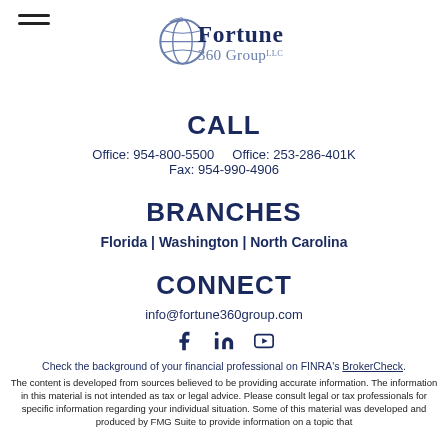[Figure (logo): Fortune 360 Group LLC logo with globe icon]
CALL
Office: 954-800-5500     Office: 253-286-401K
Fax: 954-990-4906
BRANCHES
Florida | Washington | North Carolina
CONNECT
info@fortune360group.com
[Figure (illustration): Social media icons: Facebook, LinkedIn, YouTube]
Check the background of your financial professional on FINRA's BrokerCheck.
The content is developed from sources believed to be providing accurate information. The information in this material is not intended as tax or legal advice. Please consult legal or tax professionals for specific information regarding your individual situation. Some of this material was developed and produced by FMG Suite to provide information on a topic that